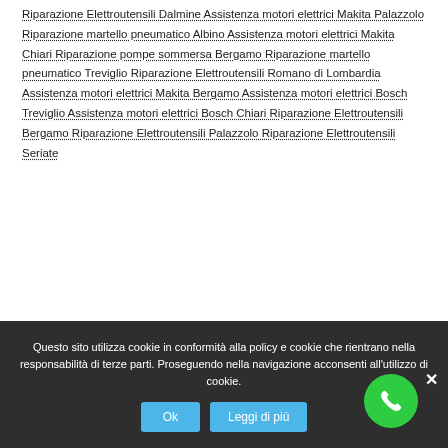Riparazione Elettroutensili Dalmine Assistenza motori elettrici Makita Palazzolo Riparazione martello pneumatico Albino Assistenza motori elettrici Makita Chiari Riparazione pompe sommersa Bergamo Riparazione martello pneumatico Treviglio Riparazione Elettroutensili Romano di Lombardia Assistenza motori elettrici Makita Bergamo Assistenza motori elettrici Bosch Treviglio Assistenza motori elettrici Bosch Chiari Riparazione Elettroutensili Bergamo Riparazione Elettroutensili Palazzolo Riparazione Elettroutensili Seriate
Questo sito utilizza cookie in conformità alla policy e cookie che rientrano nella responsabilità di terze parti. Proseguendo nella navigazione acconsenti all'utilizzo di cookie.
Ok
Leggi di più